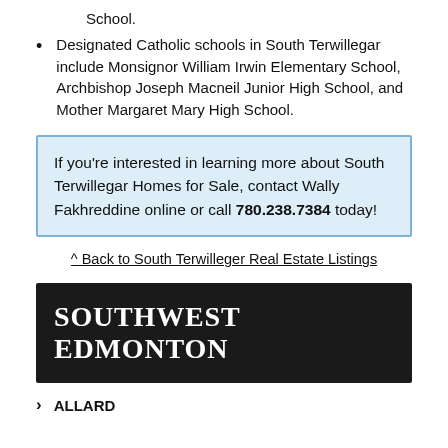School.
Designated Catholic schools in South Terwillegar include Monsignor William Irwin Elementary School, Archbishop Joseph Macneil Junior High School, and Mother Margaret Mary High School.
If you're interested in learning more about South Terwillegar Homes for Sale, contact Wally Fakhreddine online or call 780.238.7384 today!
^ Back to South Terwilleger Real Estate Listings
SOUTHWEST EDMONTON
ALLARD